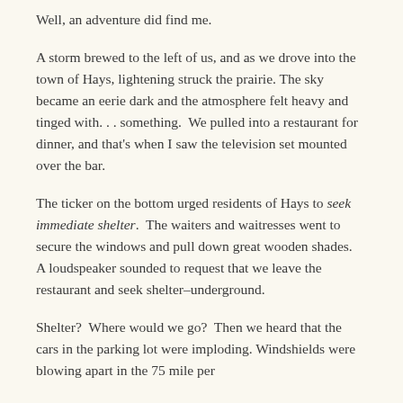Well, an adventure did find me.
A storm brewed to the left of us, and as we drove into the town of Hays, lightening struck the prairie. The sky became an eerie dark and the atmosphere felt heavy and tinged with. . . something.  We pulled into a restaurant for dinner, and that's when I saw the television set mounted over the bar.
The ticker on the bottom urged residents of Hays to seek immediate shelter.  The waiters and waitresses went to secure the windows and pull down great wooden shades.  A loudspeaker sounded to request that we leave the restaurant and seek shelter–underground.
Shelter?  Where would we go?  Then we heard that the cars in the parking lot were imploding. Windshields were blowing apart in the 75 mile per